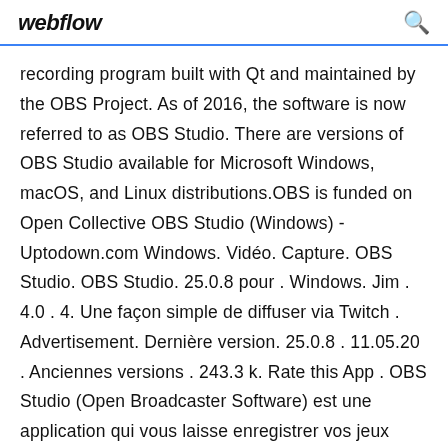webflow
recording program built with Qt and maintained by the OBS Project. As of 2016, the software is now referred to as OBS Studio. There are versions of OBS Studio available for Microsoft Windows, macOS, and Linux distributions.OBS is funded on Open Collective OBS Studio (Windows) - Uptodown.com Windows. Vidéo. Capture. OBS Studio. OBS Studio. 25.0.8 pour . Windows. Jim . 4.0 . 4. Une façon simple de diffuser via Twitch . Advertisement. Dernière version. 25.0.8 . 11.05.20 . Anciennes versions . 243.3 k. Rate this App . OBS Studio (Open Broadcaster Software) est une application qui vous laisse enregistrer vos jeux vidéo et vous diffuser à travers